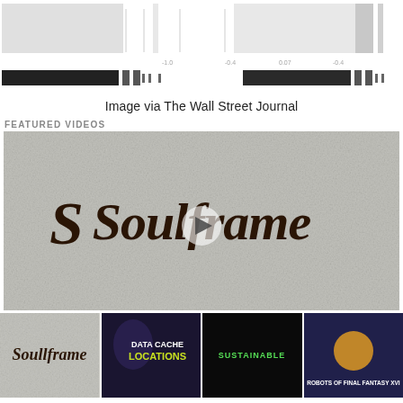[Figure (screenshot): Top graphic resembling a barcode/grid pattern from The Wall Street Journal, with alternating gray rectangles and vertical lines on white background]
Image via The Wall Street Journal
FEATURED VIDEOS
[Figure (screenshot): Main featured video thumbnail showing the Soulframe game logo in gothic/blackletter font on a textured stone/concrete background, with a play button overlay]
[Figure (screenshot): Four small video thumbnails in a row: 1) Soulframe logo, 2) Data Cache Locations with yellow-green text, 3) Sustainable (green text on black), 4) An unidentified video with colorful graphics]